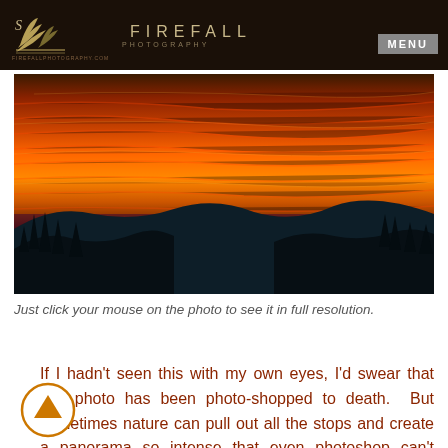FIREFALL PHOTOGRAPHY — firefallphotography.com — MENU
[Figure (photo): Dramatic panoramic landscape photo of a mountain valley at sunset with intensely vivid orange-red fiery clouds filling the sky above dark silhouetted mountain ridges and pine trees]
Just click your mouse on the photo to see it in full resolution.
If I hadn't seen this with my own eyes, I'd swear that this photo has been photo-shopped to death. But sometimes nature can pull out all the stops and create a panorama so intense that even photoshop can't match it…no